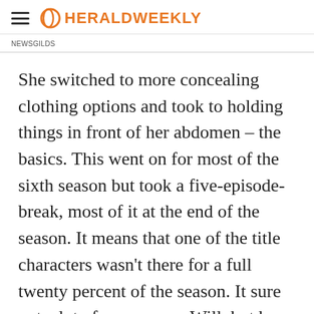HERALDWEEKLY
NEWSGILDS
She switched to more concealing clothing options and took to holding things in front of her abdomen – the basics. This went on for most of the sixth season but took a five-episode-break, most of it at the end of the season. It means that one of the title characters wasn't there for a full twenty percent of the season. It sure put a lot of pressure on Will, but he handled it.